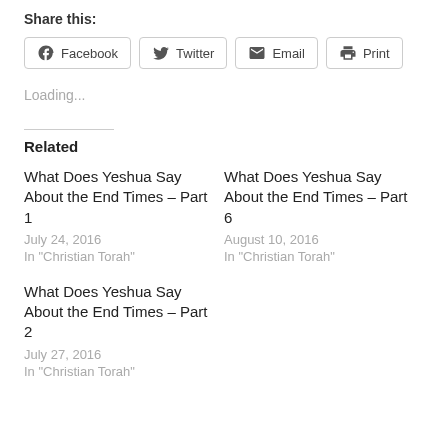Share this:
Facebook
Twitter
Email
Print
Loading...
Related
What Does Yeshua Say About the End Times – Part 1
July 24, 2016
In "Christian Torah"
What Does Yeshua Say About the End Times – Part 6
August 10, 2016
In "Christian Torah"
What Does Yeshua Say About the End Times – Part 2
July 27, 2016
In "Christian Torah"